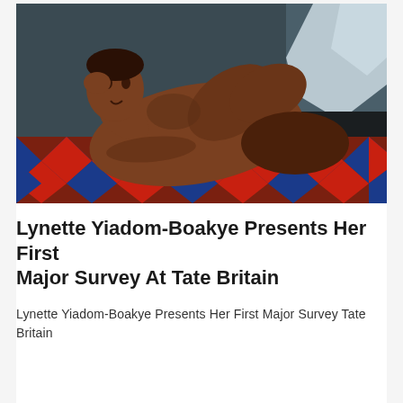[Figure (illustration): A painting depicting a reclining figure (person of color, shirtless) leaning on their elbow on a red and blue diamond-patterned surface. The background is dark teal/grey. A white pillow or fabric is visible in the upper right.]
Lynette Yiadom-Boakye Presents Her First Major Survey At Tate Britain
Lynette Yiadom-Boakye Presents Her First Major Survey Tate Britain